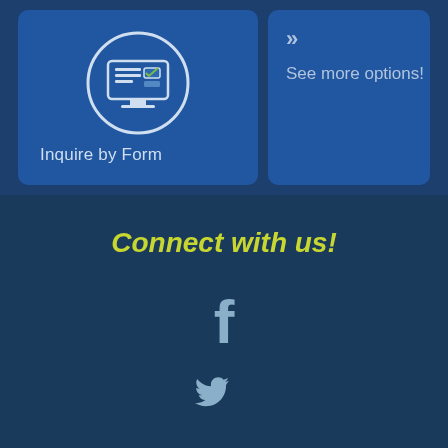[Figure (illustration): Blue card with circle icon showing a computer/form interface, labeled 'Inquire by Form']
Inquire by Form
[Figure (illustration): Blue card with double chevron and 'See more options!' text]
See more options!
Connect with us!
[Figure (illustration): Facebook icon (f) in light blue/grey color]
[Figure (illustration): Twitter bird icon in light blue/grey color]
[Figure (illustration): LinkedIn 'in' icon in light blue/grey color, partially visible]